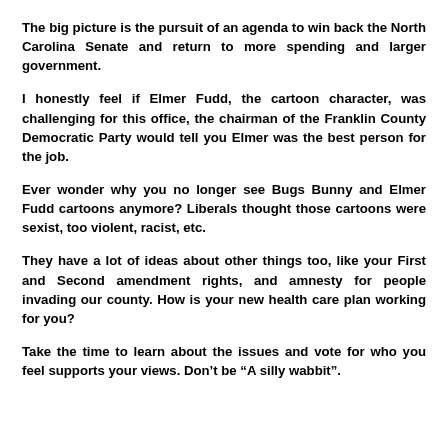The big picture is the pursuit of an agenda to win back the North Carolina Senate and return to more spending and larger government.
I honestly feel if Elmer Fudd, the cartoon character, was challenging for this office, the chairman of the Franklin County Democratic Party would tell you Elmer was the best person for the job.
Ever wonder why you no longer see Bugs Bunny and Elmer Fudd cartoons anymore? Liberals thought those cartoons were sexist, too violent, racist, etc.
They have a lot of ideas about other things too, like your First and Second amendment rights, and amnesty for people invading our county. How is your new health care plan working for you?
Take the time to learn about the issues and vote for who you feel supports your views. Don’t be “A silly wabbit”.